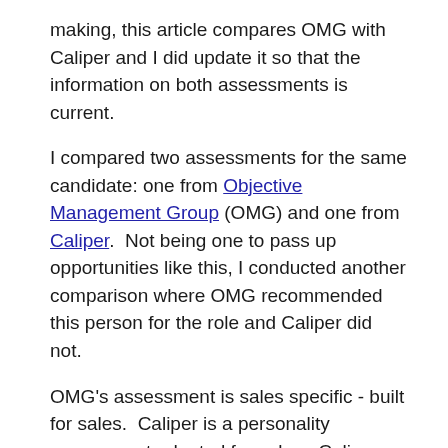making, this article compares OMG with Caliper and I did update it so that the information on both assessments is current.
I compared two assessments for the same candidate: one from Objective Management Group (OMG) and one from Caliper.  Not being one to pass up opportunities like this, I conducted another comparison where OMG recommended this person for the role and Caliper did not.
OMG's assessment is sales specific - built for sales.  Caliper is a personality assessment adapted for sales.  Caliper asks the same questions as in their traditional personality assessment, but modifies the findings based on the personality traits they believe are associated with sales.  Some of Herbert Greenberg's